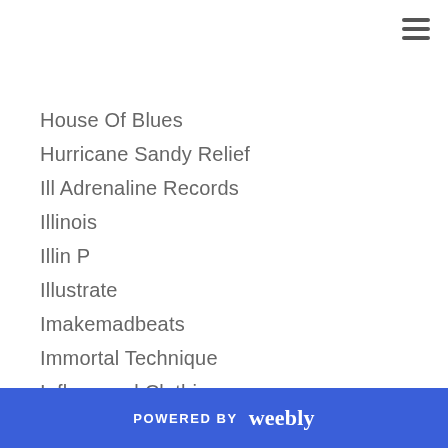House Of Blues
Hurricane Sandy Relief
Ill Adrenaline Records
Illinois
Illin P
Illustrate
Imakemadbeats
Immortal Technique
Influensoul Clothing
In House
Inspiration
Instrumentals
Internal Quest
Internal Quest
POWERED BY weebly